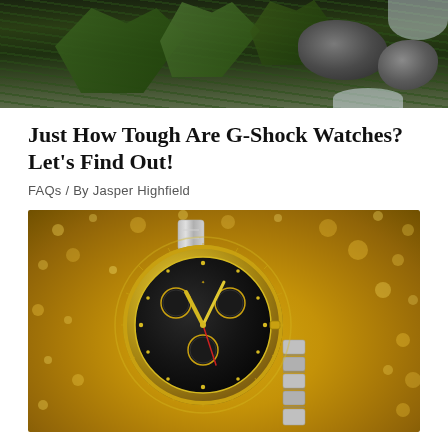[Figure (photo): Top portion of an outdoor nature photo showing dark green pine/grass vegetation and rocky terrain with snow, on dark background]
Just How Tough Are G-Shock Watches? Let's Find Out!
FAQs / By Jasper Highfield
[Figure (photo): A gold and black luxury chronograph watch (Rolex Daytona style) with black dial and gold sub-dials, placed on a glittery gold sparkly surface with bokeh light effects in background]